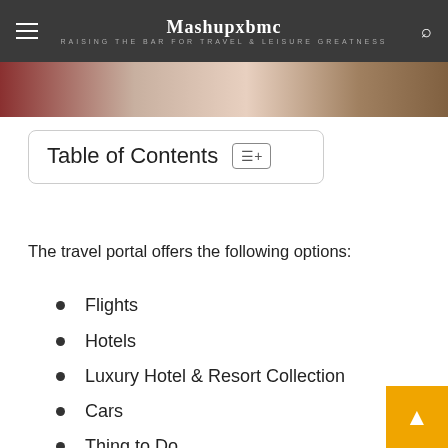Mashupxbmc — RAISING THE BAR FOR TRAVEL & LEISURE GREATNESS
[Figure (photo): Partial photo strip showing a person, partially cropped]
Table of Contents
The travel portal offers the following options:
Flights
Hotels
Luxury Hotel & Resort Collection
Cars
Thing to Do
Vacation Rentals
Cruises